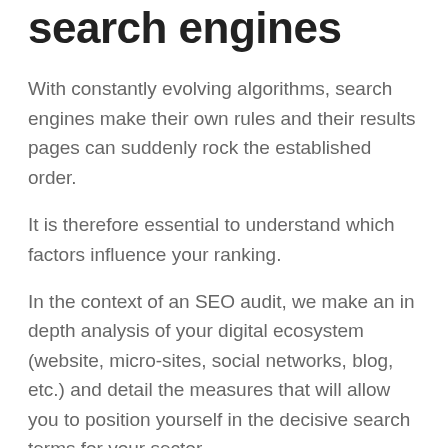search engines
With constantly evolving algorithms, search engines make their own rules and their results pages can suddenly rock the established order.
It is therefore essential to understand which factors influence your ranking.
In the context of an SEO audit, we make an in depth analysis of your digital ecosystem (website, micro-sites, social networks, blog, etc.) and detail the measures that will allow you to position yourself in the decisive search terms for your sector.